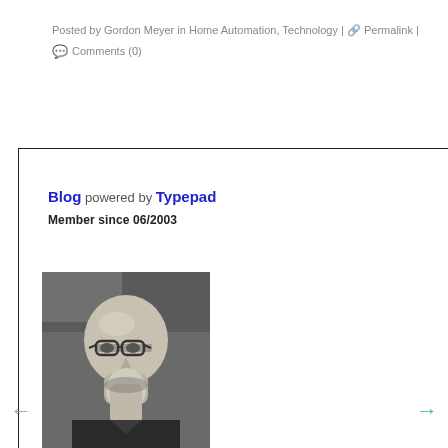Posted by Gordon Meyer in Home Automation, Technology | 🔗 Permalink |
💬 Comments (0)
Blog powered by Typepad
Member since 06/2003
[Figure (photo): Black and white portrait photo of a bald man with glasses and a grey goatee beard, looking upward at the camera]